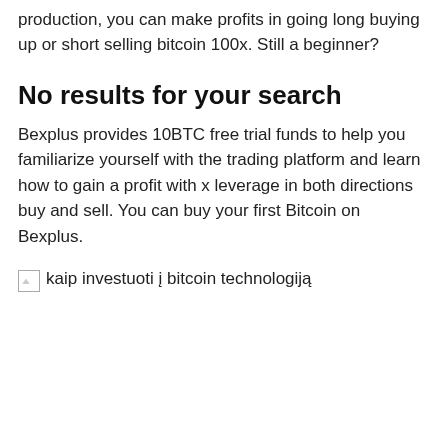production, you can make profits in going long buying up or short selling bitcoin 100x. Still a beginner?
No results for your search
Bexplus provides 10BTC free trial funds to help you familiarize yourself with the trading platform and learn how to gain a profit with x leverage in both directions buy and sell. You can buy your first Bitcoin on Bexplus.
[Figure (other): Broken image placeholder with alt text: kaip investuoti į bitcoin technologiją]